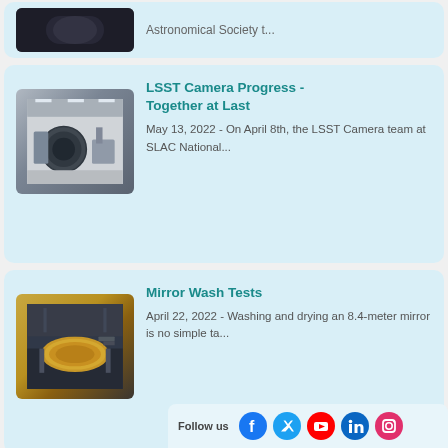[Figure (photo): Partial top card with astronomical image cropped at top]
Astronomical Society t...
[Figure (photo): LSST Camera lab photo showing large circular optical component in cleanroom]
LSST Camera Progress - Together at Last
May 13, 2022 - On April 8th, the LSST Camera team at SLAC National...
[Figure (photo): Mirror wash test photo showing large golden 8.4-meter mirror]
Mirror Wash Tests
April 22, 2022 - Washing and drying an 8.4-meter mirror is no simple ta...
Follow us